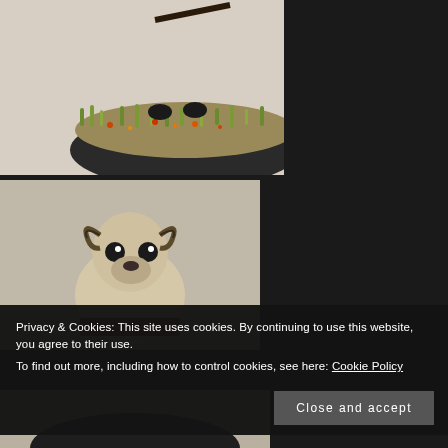[Figure (photo): Painted miniature figurine showing the base with grass and autumn-colored foliage on a black oval base, photographed from below]
[Figure (photo): Close-up of a painted miniature creature with ram horns, dark eyes/markings, furry beige body and a red belt/sash — appears to be a fantasy creature miniature]
[Figure (photo): Partial photo of another miniature on a black oval base, only the base visible]
Privacy & Cookies: This site uses cookies. By continuing to use this website, you agree to their use.
To find out more, including how to control cookies, see here: Cookie Policy
Close and accept